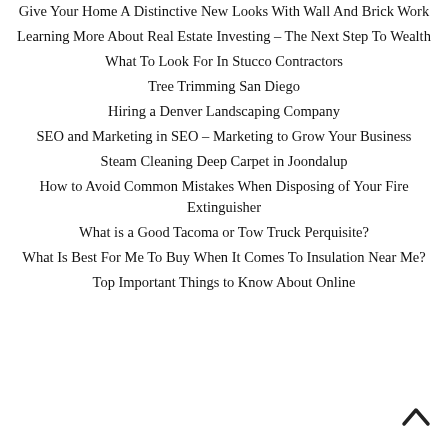Give Your Home A Distinctive New Looks With Wall And Brick Work
Learning More About Real Estate Investing – The Next Step To Wealth
What To Look For In Stucco Contractors
Tree Trimming San Diego
Hiring a Denver Landscaping Company
SEO and Marketing in SEO – Marketing to Grow Your Business
Steam Cleaning Deep Carpet in Joondalup
How to Avoid Common Mistakes When Disposing of Your Fire Extinguisher
What is a Good Tacoma or Tow Truck Perquisite?
What Is Best For Me To Buy When It Comes To Insulation Near Me?
Top Important Things to Know About Online